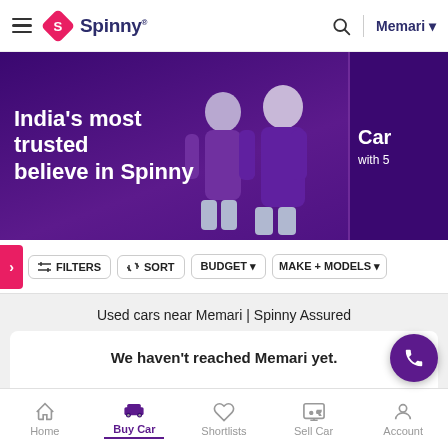Spinny — Memari
[Figure (photo): Spinny website banner showing two people in purple clothing with text 'India's most trusted believe in Spinny' on a dark purple background]
FILTERS   SORT   BUDGET   MAKE + MODELS
Used cars near Memari | Spinny Assured
We haven't reached Memari yet.
Home   Buy Car   Shortlists   Sell Car   Account